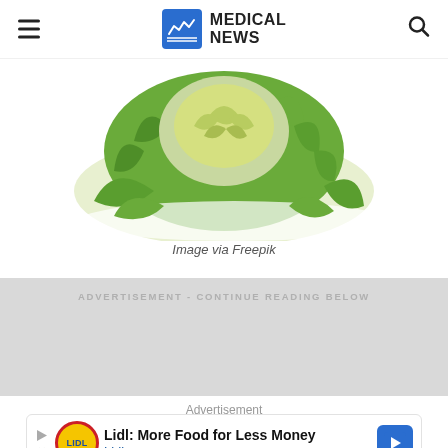MEDICAL NEWS
[Figure (photo): Artichoke vegetable photographed from above on white background, showing green leaves and inner head]
Image via Freepik
ADVERTISEMENT - CONTINUE READING BELOW
Advertisement
[Figure (screenshot): Lidl advertisement: 'Lidl: More Food for Less Money' with Lidl logo and navigation arrow]